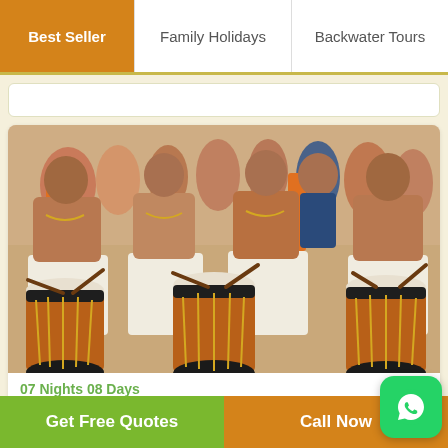Best Seller | Family Holidays | Backwater Tours
[Figure (photo): Traditional Kerala Chenda drum performers at a festival, men wearing white dhotis and orange scarves playing large cylindrical drums with sticks, crowd in background]
07 Nights 08 Days
Bangalore – Kodaikanal – Ooty – Coorg…
Get Free Quotes | Call Now